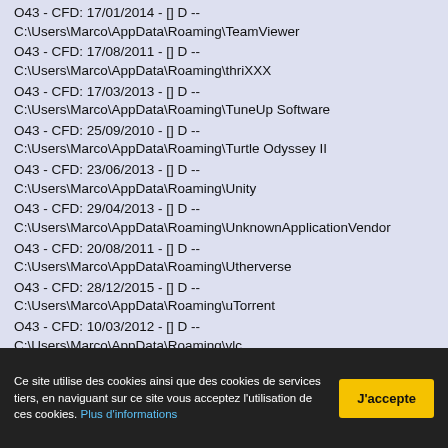O43 - CFD: 17/01/2014 - [] D -- C:\Users\Marco\AppData\Roaming\TeamViewer
O43 - CFD: 17/08/2011 - [] D -- C:\Users\Marco\AppData\Roaming\thriXXX
O43 - CFD: 17/03/2013 - [] D -- C:\Users\Marco\AppData\Roaming\TuneUp Software
O43 - CFD: 25/09/2010 - [] D -- C:\Users\Marco\AppData\Roaming\Turtle Odyssey II
O43 - CFD: 23/06/2013 - [] D -- C:\Users\Marco\AppData\Roaming\Unity
O43 - CFD: 29/04/2013 - [] D -- C:\Users\Marco\AppData\Roaming\UnknownApplicationVendor
O43 - CFD: 20/08/2011 - [] D -- C:\Users\Marco\AppData\Roaming\Utherverse
O43 - CFD: 28/12/2015 - [] D -- C:\Users\Marco\AppData\Roaming\uTorrent
O43 - CFD: 10/03/2012 - [] D -- C:\Users\Marco\AppData\Roaming\vlc
O43 - CFD: 28/12/2015 - [] D
Ce site utilise des cookies ainsi que des cookies de services tiers, en naviguant sur ce site vous acceptez l'utilisation de ces cookies. Plus d'informations
J'accepte